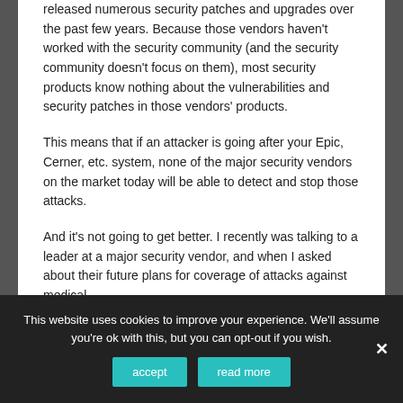released numerous security patches and upgrades over the past few years. Because those vendors haven't worked with the security community (and the security community doesn't focus on them), most security products know nothing about the vulnerabilities and security patches in those vendors' products.
This means that if an attacker is going after your Epic, Cerner, etc. system, none of the major security vendors on the market today will be able to detect and stop those attacks.
And it's not going to get better. I recently was talking to a leader at a major security vendor, and when I asked about their future plans for coverage of attacks against medical
This website uses cookies to improve your experience. We'll assume you're ok with this, but you can opt-out if you wish.